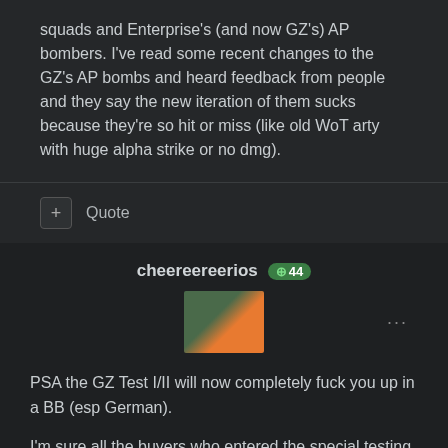squads and Enterprise's (and now GZ's) AP bombers. I've read some recent changes to the GZ's AP bombs and heard feedback from people and they say the new iteration of them sucks because they're so hit or miss (like old WoT arty with huge alpha strike or no dmg).
+ Quote
cheereereerios +44
[Figure (photo): User avatar for cheereereerios showing a person's face alongside a cartoon character]
PSA the GZ Test I/II will now completely fuck you up in a BB (esp German).
I'm sure all the buyers who entered the special testing group